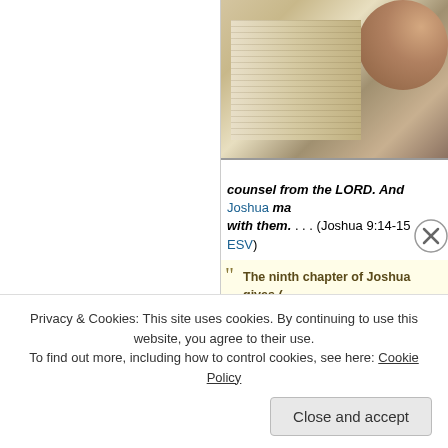[Figure (photo): Person reading a Bible, hands clasped, open pages visible]
counsel from the LORD. And Joshua ma with them. . . . (Joshua 9:14-15 ESV)
The ninth chapter of Joshua gives [example of] when God's people do not pray. Wh[en they are] easily deceived and make wrong de[cisions. Not to] pray, they also fail the people unde[r their care. The] utter failure of Israel's leaders—Jos[hua, the princes,] and the elders—to seek guidan[ce from God...]
Privacy & Cookies: This site uses cookies. By continuing to use this website, you agree to their use.
To find out more, including how to control cookies, see here: Cookie Policy
Close and accept